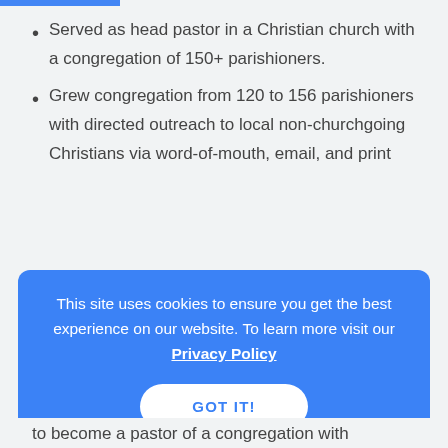Served as head pastor in a Christian church with a congregation of 150+ parishioners.
Grew congregation from 120 to 156 parishioners with directed outreach to local non-churchgoing Christians via word-of-mouth, email, and print
This site uses cookies to ensure you get the best experience on our website. To learn more visit our Privacy Policy
GOT IT!
to become a pastor of a congregation with